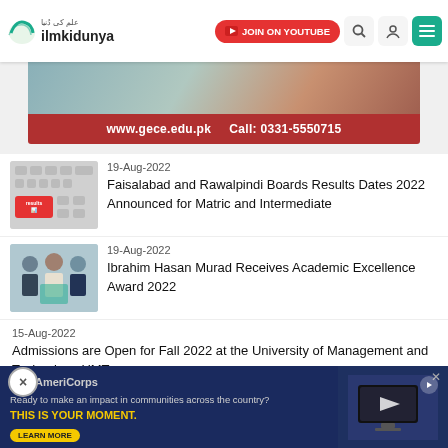ilmkidunya | JOIN ON YOUTUBE | Search | User | Menu
[Figure (photo): Banner advertisement for GECE showing website www.gece.edu.pk and phone Call: 0331-5550715]
[Figure (photo): Thumbnail of keyboard with red 'results' key]
19-Aug-2022
Faisalabad and Rawalpindi Boards Results Dates 2022 Announced for Matric and Intermediate
[Figure (photo): Thumbnail showing three men, Ibrahim Hasan Murad award ceremony]
19-Aug-2022
Ibrahim Hasan Murad Receives Academic Excellence Award 2022
15-Aug-2022
Admissions are Open for Fall 2022 at the University of Management and Technology UMT
15-Aug-2022
AmeriCorps advertisement: Ready to make an impact in communities across the country? THIS IS YOUR MOMENT. LEARN MORE